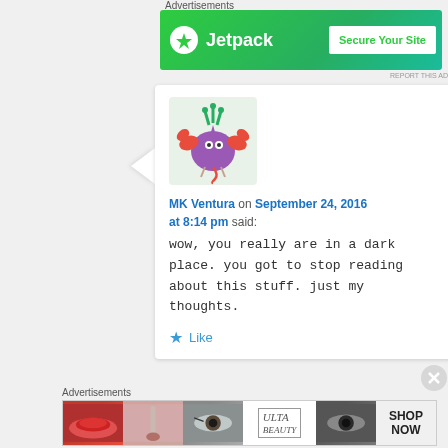Advertisements
[Figure (screenshot): Jetpack advertisement banner with green background, Jetpack logo and 'Secure Your Site' button]
[Figure (illustration): Purple cartoon crab/star character with red claws and green hair, used as avatar]
MK Ventura on September 24, 2016 at 8:14 pm said:
wow, you really are in a dark place. you got to stop reading about this stuff. just my thoughts.
Like
Advertisements
[Figure (screenshot): ULTA beauty advertisement banner showing makeup/cosmetic images including lips, brush, eyes with SHOP NOW call to action]